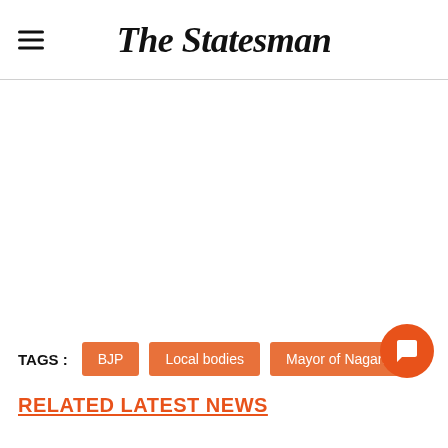The Statesman
TAGS : BJP  Local bodies  Mayor of Nagarni
RELATED LATEST NEWS